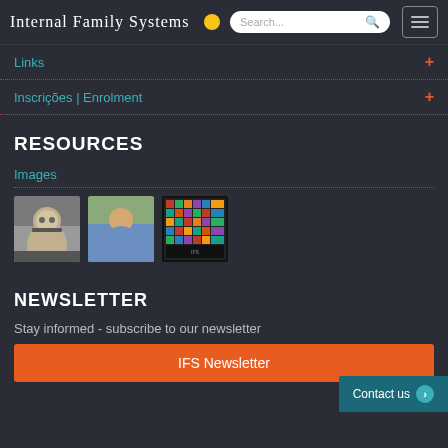Internal Family Systems
Links
Inscrições | Enrolment
RESOURCES
Images
[Figure (photo): Three thumbnail images: two portrait photos of a middle-aged man with glasses, and one colorful book cover grid image]
NEWSLETTER
Stay informed - subscribe to our newsletter
IFS Newsletter
Contact us